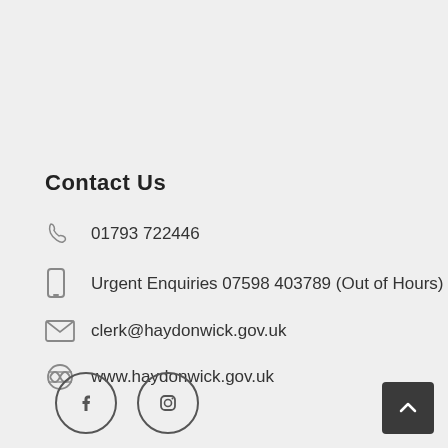Contact Us
01793 722446
Urgent Enquiries 07598 403789 (Out of Hours)
clerk@haydonwick.gov.uk
www.haydonwick.gov.uk
[Figure (other): Facebook and Instagram social media icon circles]
[Figure (other): Back to top button with upward arrow]